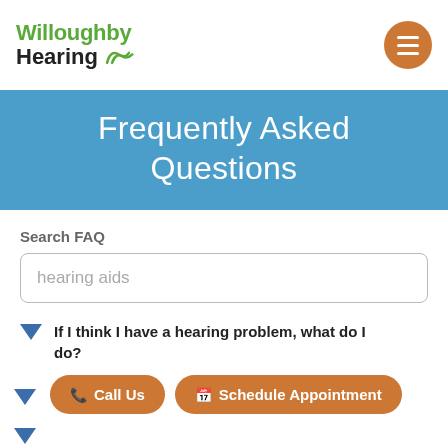Willoughby Hearing
Frequently Asked Questions
Search FAQ
hearing aids
If I think I have a hearing problem, what do I do?
...hearing...
...hearing problem?